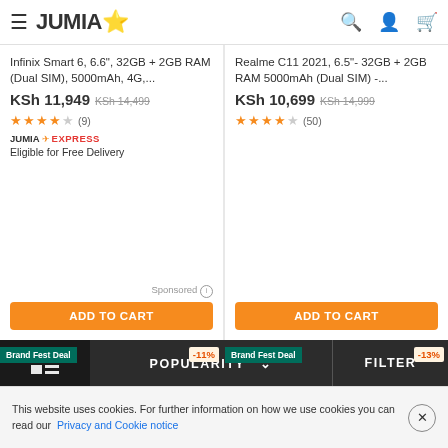JUMIA (logo with star)
Infinix Smart 6, 6.6", 32GB + 2GB RAM (Dual SIM), 5000mAh, 4G,...
KSh 11,949  KSh 14,499
★★★★☆ (9)
JUMIA EXPRESS
Eligible for Free Delivery
Sponsored ⓘ
ADD TO CART
Realme C11 2021, 6.5"- 32GB + 2GB RAM 5000mAh (Dual SIM) -...
KSh 10,699  KSh 14,999
★★★★☆ (50)
ADD TO CART
[Figure (photo): Two smartphones shown - Brand Fest Deal -11% discount badge]
[Figure (photo): Two blue smartphones shown - Brand Fest Deal -13% discount badge]
POPULARITY ∨
FILTER
This website uses cookies. For further information on how we use cookies you can read our Privacy and Cookie notice